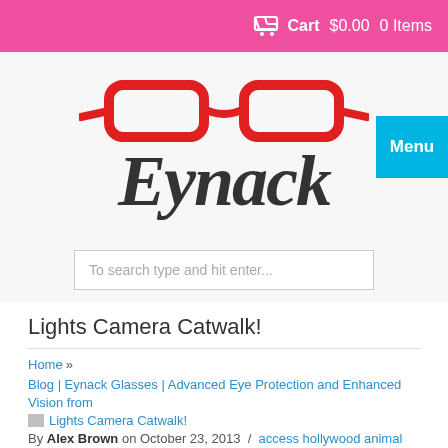Cart  $0.00  0 Items
[Figure (logo): Eynack eyeglasses logo with red glasses frames above stylized dark gray script text 'Eynack']
Menu
To search type and hit enter...
Lights Camera Catwalk!
Home »
Blog | Eynack Glasses | Advanced Eye Protection and Enhanced Vision from
Lights Camera Catwalk!
By Alex Brown on October 23, 2013 /  access hollywood animal print celebrity style eva marcille eyeglass frame eyeglass frames eyewear frames eyewear trends face shape fashion eyewear fashion frame frame jennifer aniston katy perry prescription glasses reading red